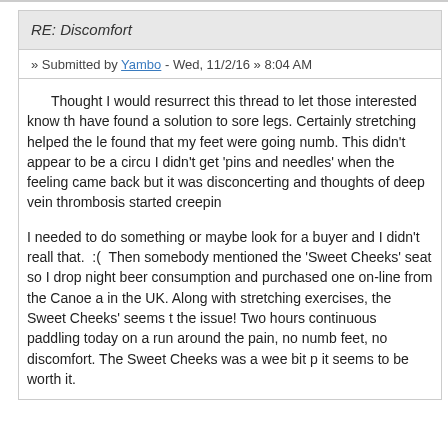RE: Discomfort
» Submitted by Yambo - Wed, 11/2/16 » 8:04 AM
Thought I would resurrect this thread to let those interested know th have found a solution to sore legs. Certainly stretching helped the le found that my feet were going numb. This didn't appear to be a circu I didn't get 'pins and needles' when the feeling came back but it was disconcerting and thoughts of deep vein thrombosis started creepin
I needed to do something or maybe look for a buyer and I didn't reall that. :( Then somebody mentioned the 'Sweet Cheeks' seat so I drop night beer consumption and purchased one on-line from the Canoe a in the UK. Along with stretching exercises, the Sweet Cheeks' seems t the issue! Two hours continuous paddling today on a run around the pain, no numb feet, no discomfort. The Sweet Cheeks was a wee bit p it seems to be worth it.